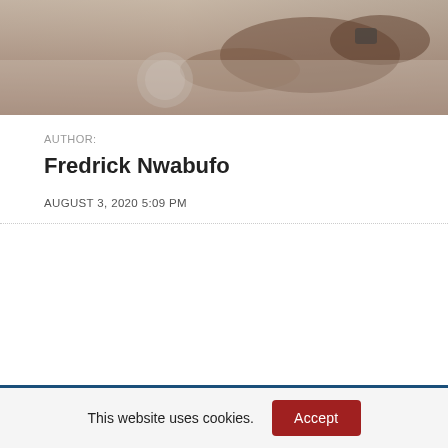[Figure (photo): A person's hands resting on a surface, partial view of body in light-colored clothing, photographic banner image at top of page]
AUTHOR:
Fredrick Nwabufo
AUGUST 3, 2020 5:09 PM
This website uses cookies.